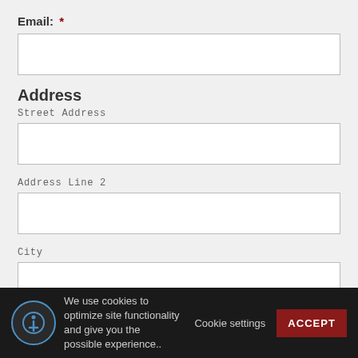Email: *
Address
Street Address
Address Line 2
City
We use cookies to optimize site functionality and give you the possible experience..   Cookie settings   ACCEPT